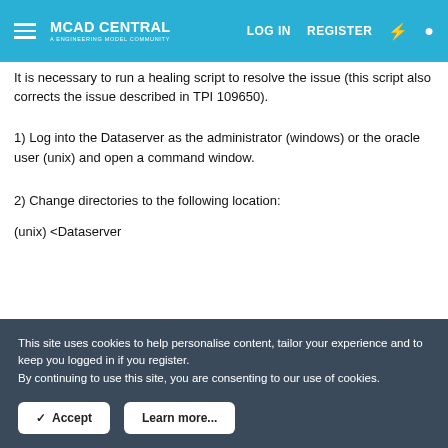MCAD CENTRAL | LOG IN | REGISTER
It is necessary to run a healing script to resolve the issue (this script also corrects the issue described in TPI 109650).
1) Log into the Dataserver as the administrator (windows) or the oracle user (unix) and open a command window.
2) Change directories to the following location:
(unix) <Dataserver
This site uses cookies to help personalise content, tailor your experience and to keep you logged in if you register.
By continuing to use this site, you are consenting to our use of cookies.